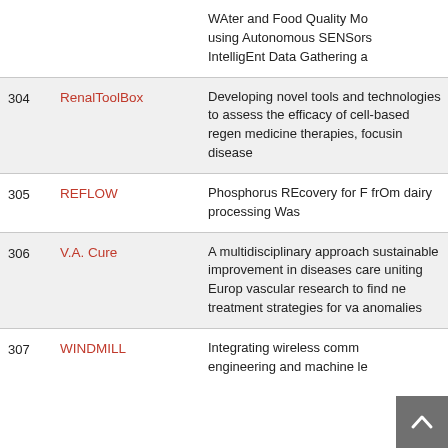| # | Name | Description |
| --- | --- | --- |
|  |  | WAter and Food Quality Monitoring using Autonomous SENSors IntelligEnt Data Gathering a… |
| 304 | RenalToolBox | Developing novel tools and technologies to assess the efficacy of cell-based regenerative medicine therapies, focusing on kidney disease |
| 305 | REFLOW | Phosphorus REcovery for Fertilizers frOm dairy processing Wast… |
| 306 | V.A. Cure | A multidisciplinary approach for sustainable improvement in vascular diseases care uniting European vascular research to find new treatment strategies for vascular anomalies |
| 307 | WINDMILL | Integrating wireless communications engineering and machine le… |